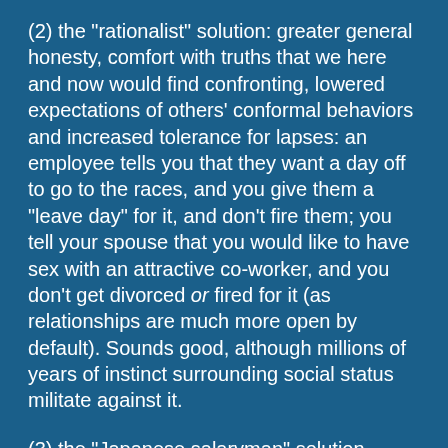(2) the "rationalist" solution: greater general honesty, comfort with truths that we here and now would find confronting, lowered expectations of others' conformal behaviors and increased tolerance for lapses: an employee tells you that they want a day off to go to the races, and you give them a "leave day" for it, and don't fire them; you tell your spouse that you would like to have sex with an attractive co-worker, and you don't get divorced or fired for it (as relationships are much more open by default). Sounds good, although millions of years of instinct surrounding social status militate against it.
(3) the "Japanese salaryman" solution, similar to #1 but with stronger "firewalls" around separate areas of life, ie it would become socially awkward to mention at all to your co-workers that you are getting divorced, or to your family that you're having trouble at work, except inasmuch as this directly affects them. You do your work with your co-workers, your home life with your family, and your hobbies